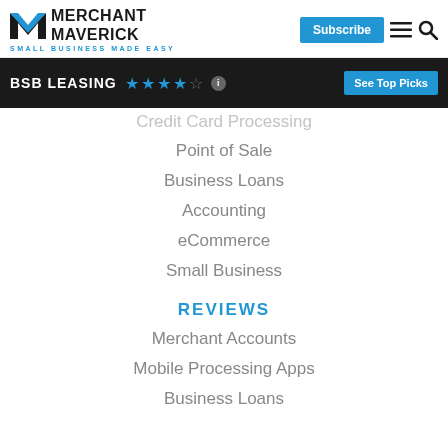MERCHANT MAVERICK — SMALL BUSINESS MADE EASY | Subscribe
BSB LEASING ★★★★☆ — See Top Picks
Credit Card Processing
Point of Sale
Business Loans
Accounting
eCommerce
Small Business
REVIEWS
Merchant Accounts
Mobile Processing Apps
Business Loans